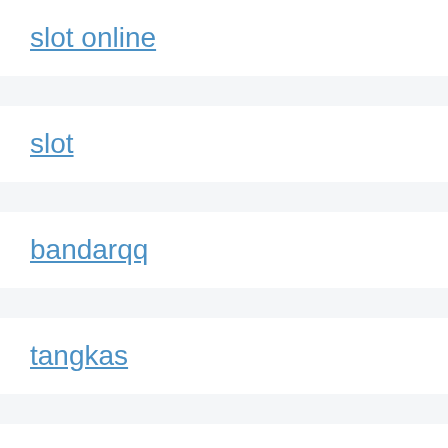slot online
slot
bandarqq
tangkas
slot online